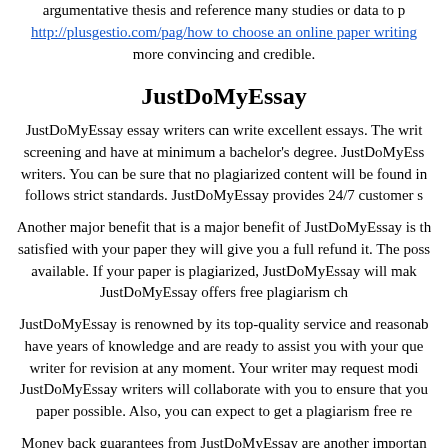argumentative thesis and reference many studies or data to p http://plusgestio.com/pag/how_to_choose_an_online_paper_writing more convincing and credible.
JustDoMyEssay
JustDoMyEssay essay writers can write excellent essays. The writ screening and have at minimum a bachelor's degree. JustDoMyEss writers. You can be sure that no plagiarized content will be found in follows strict standards. JustDoMyEssay provides 24/7 customer s
Another major benefit that is a major benefit of JustDoMyEssay is th satisfied with your paper they will give you a full refund it. The poss available. If your paper is plagiarized, JustDoMyEssay will mak JustDoMyEssay offers free plagiarism ch
JustDoMyEssay is renowned by its top-quality service and reasonab have years of knowledge and are ready to assist you with your que writer for revision at any moment. Your writer may request modi JustDoMyEssay writers will collaborate with you to ensure that you paper possible. Also, you can expect to get a plagiarism free re
Money back guarantees from JustDoMyEssay are another importan work you received then you'll get your money back. Your deadli